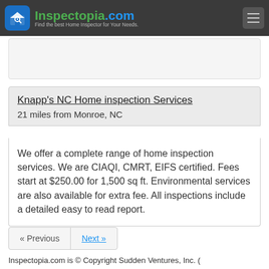Inspectopia.com - Find the best Home Inspector for Your Needs.
Knapp's NC Home inspection Services
21 miles from Monroe, NC
We offer a complete range of home inspection services. We are CIAQI, CMRT, EIFS certified. Fees start at $250.00 for 1,500 sq ft. Environmental services are also available for extra fee. All inspections include a detailed easy to read report.
Inspectopia.com is © Copyright Sudden Ventures, Inc. (